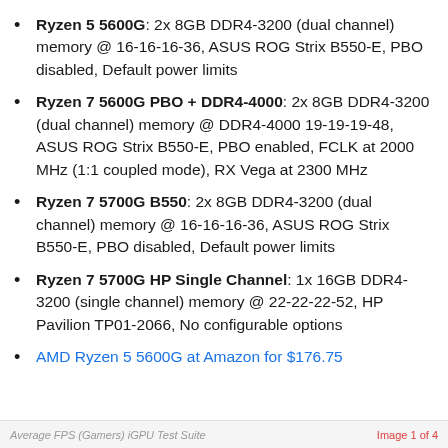Ryzen 5 5600G: 2x 8GB DDR4-3200 (dual channel) memory @ 16-16-16-36, ASUS ROG Strix B550-E, PBO disabled, Default power limits
Ryzen 7 5600G PBO + DDR4-4000: 2x 8GB DDR4-3200 (dual channel) memory @ DDR4-4000 19-19-19-48, ASUS ROG Strix B550-E, PBO enabled, FCLK at 2000 MHz (1:1 coupled mode), RX Vega at 2300 MHz
Ryzen 7 5700G B550: 2x 8GB DDR4-3200 (dual channel) memory @ 16-16-16-36, ASUS ROG Strix B550-E, PBO disabled, Default power limits
Ryzen 7 5700G HP Single Channel: 1x 16GB DDR4-3200 (single channel) memory @ 22-22-22-52, HP Pavilion TP01-2066, No configurable options
AMD Ryzen 5 5600G at Amazon for $176.75
Average FPS (Gamers) iGPU Test Suite    Image 1 of 4